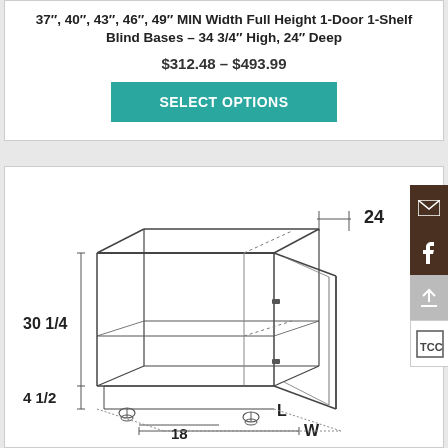37", 40", 43", 46", 49" MIN Width Full Height 1-Door 1-Shelf Blind Bases – 34 3/4" High, 24" Deep
$312.48 – $493.99
[Figure (engineering-diagram): Technical line drawing of a base cabinet showing dimensions: depth 24", height 30 1/4", toe kick 4 1/2", width indicated as W with 18" partial dimension, length L. Cabinet shown in isometric view with one door open, interior shelf visible, adjustable legs at bottom.]